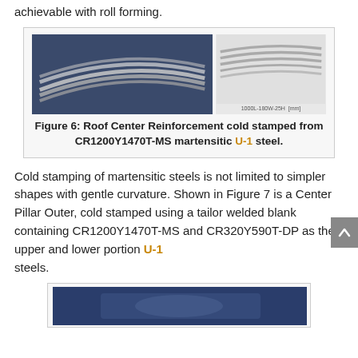achievable with roll forming.
[Figure (photo): Two photos side by side: left shows Roof Center Reinforcement metal part on blue background, right shows technical profile view with scale label '1000L-180W-25H [mm]']
Figure 6: Roof Center Reinforcement cold stamped from CR1200Y1470T-MS martensitic steel. U-1
Cold stamping of martensitic steels is not limited to simpler shapes with gentle curvature. Shown in Figure 7 is a Center Pillar Outer, cold stamped using a tailor welded blank containing CR1200Y1470T-MS and CR320Y590T-DP as the upper and lower portion steels. U-1
[Figure (photo): Bottom of page shows beginning of another figure box with dark blue background photo (partial view).]